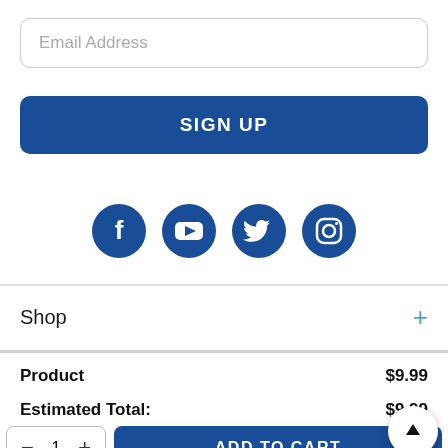Email Address
SIGN UP
[Figure (illustration): Four social media icons (Facebook, YouTube, Twitter, Instagram) as white icons on dark blue circles]
Shop +
|  |  |
| --- | --- |
| Product | $9.99 |
| Estimated Total: | $9.99 |
ADD TO CART